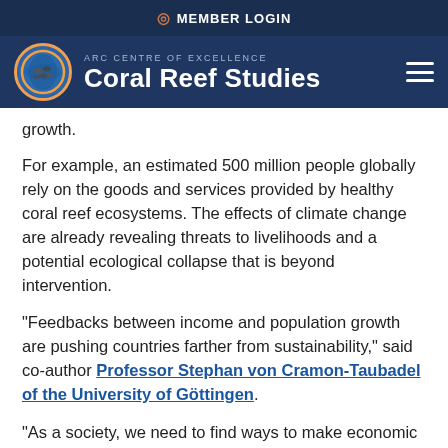MEMBER LOGIN
[Figure (logo): ARC Centre of Excellence Coral Reef Studies logo with globe/fish icon and navigation hamburger menu]
growth.
For example, an estimated 500 million people globally rely on the goods and services provided by healthy coral reef ecosystems. The effects of climate change are already revealing threats to livelihoods and a potential ecological collapse that is beyond intervention.
“Feedbacks between income and population growth are pushing countries farther from sustainability,” said co-author Professor Stephan von Cramon-Taubadel of the University of Göttingen.
“As a society, we need to find ways to make economic development and good standards of living compatible with ecological sustainability. We can use this knowledge to steer economic growth towards win-win outcomes for people and the environment.”